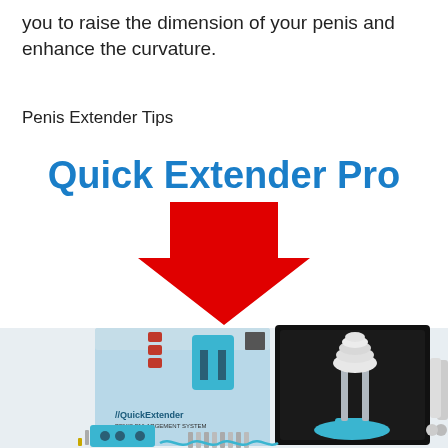you to raise the dimension of your penis and enhance the curvature.
Penis Extender Tips
[Figure (photo): Quick Extender Pro product advertisement showing the product name in blue text, a large red downward arrow, and a product photo of the Quick Extender Pro device with its box and accessories including blue plastic components, metal rods, and silicone parts on a light background.]